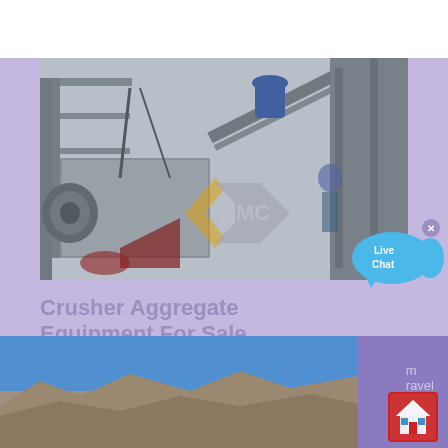[Figure (photo): Industrial crusher/aggregate equipment machinery photo with AMC logo watermark overlaid]
Crusher Aggregate Equipment For Sale
Ennis, Texas 75119. Phone: (609) 469-7160. View Details. Email Seller Video Chat. RM60 Compact Crusher, skid-mounted, demo unit, low hours, bare
[Figure (photo): Partial bottom photo showing rocky terrain or quarry landscape with blue sky]